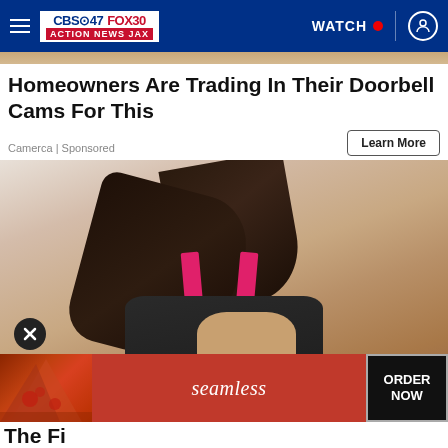CBS47 FOX30 ACTION NEWS JAX | WATCH
[Figure (photo): Partial background strip at top of content area, warm sandy/tan tones]
Homeowners Are Trading In Their Doorbell Cams For This
Camerca | Sponsored
Learn More
[Figure (photo): Woman in dark athletic top with pink straps, looking down and touching her chest, white/light background]
[Figure (photo): Seamless food delivery advertisement banner showing pizza image, Seamless logo in red, and ORDER NOW button]
The Fi…